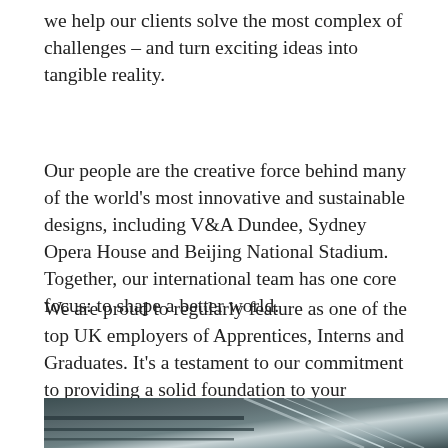we help our clients solve the most complex of challenges – and turn exciting ideas into tangible reality.
Our people are the creative force behind many of the world's most innovative and sustainable designs, including V&A Dundee, Sydney Opera House and Beijing National Stadium. Together, our international team has one core focus: to shape a better world.
We are proud to regularly feature as one of the top UK employers of Apprentices, Interns and Graduates. It's a testament to our commitment to providing a solid foundation to your development.
[Figure (photo): Close-up architectural photo showing structural glass and steel elements, dark tones with metallic reflections]